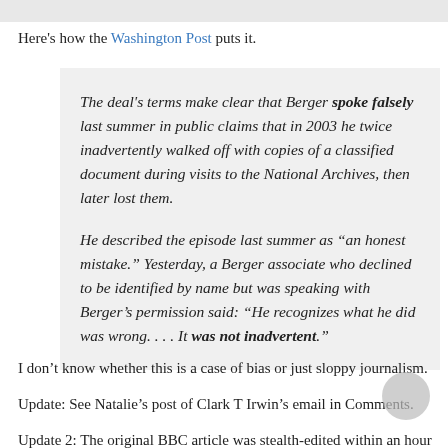Here's how the Washington Post puts it.
The deal's terms make clear that Berger spoke falsely last summer in public claims that in 2003 he twice inadvertently walked off with copies of a classified document during visits to the National Archives, then later lost them.

He described the episode last summer as “an honest mistake.” Yesterday, a Berger associate who declined to be identified by name but was speaking with Berger’s permission said: “He recognizes what he did was wrong. . . . It was not inadvertent.”
I don’t know whether this is a case of bias or just sloppy journalism.
Update: See Natalie’s post of Clark T Irwin’s email in Comments.
Update 2: The original BBC article was stealth-edited within an hour or